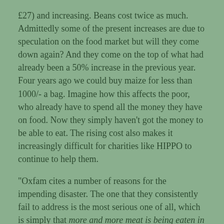£27) and increasing. Beans cost twice as much. Admittedly some of the present increases are due to speculation on the food market but will they come down again? And they come on the top of what had already been a 50% increase in the previous year. Four years ago we could buy maize for less than 1000/- a bag. Imagine how this affects the poor, who already have to spend all the money they have on food. Now they simply haven't got the money to be able to eat. The rising cost also makes it increasingly difficult for charities like HIPPO to continue to help them.
"Oxfam cites a number of reasons for the impending disaster. The one that they consistently fail to address is the most serious one of all, which is simply that more and more meat is being eaten in the world by more and more people and farm livestock consume about 10 times more food than they produce.